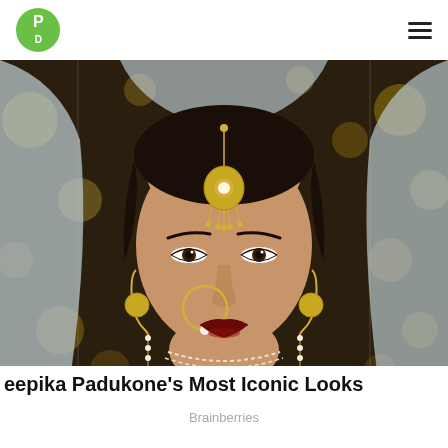PD (logo) with hamburger menu
[Figure (photo): Close-up portrait of Deepika Padukone dressed in traditional Indian bridal attire with a maang tikka headpiece, nose ring, and jewelry against a dark bokeh background]
Deepika Padukone's Most Iconic Looks
Brainberries